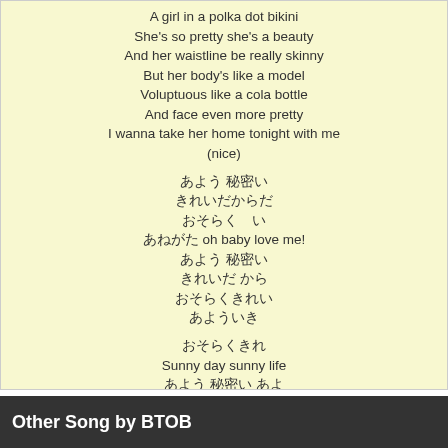A girl in a polka dot bikini
She's so pretty she's a beauty
And her waistline be really skinny
But her body's like a model
Voluptuous like a cola bottle
And face even more pretty
I wanna take her home tonight with me
(nice)

[unreadable Korean lyrics]
[unreadable Korean lyrics]
[unreadable Korean lyrics]
[unreadable Korean lyrics] oh baby love me!
[unreadable Korean lyrics]
[unreadable Korean lyrics]
[unreadable Korean lyrics]
[unreadable Korean lyrics]

[unreadable Korean lyrics]
Sunny day sunny life
[unreadable Korean lyrics]
Anytime any day anywhere
Ah ah blowin' in the wind
[unreadable Korean lyrics]
Sunny day sunny life
[unreadable Korean lyrics]
Anytime any day anywhere
Ah ah blowin' in the wind
Other Song by BTOB